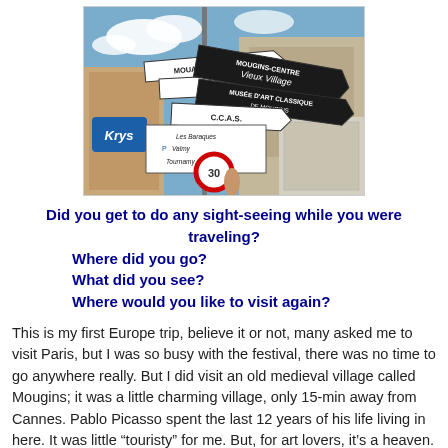[Figure (photo): Photo of multiple French street directional signs including Mougins-Sartoux, Pegomas, Mougins-Centre Vieux Village, Musee d'Art Classique, CCAS, De Mougins, Les Baraques, Valmy, Tournamy signs, with a Krys sign visible and a red and white circular speed limit sign at the bottom.]
Did you get to do any sight-seeing while you were traveling? Where did you go? What did you see? Where would you like to visit again?
This is my first Europe trip, believe it or not, many asked me to visit Paris, but I was so busy with the festival, there was no time to go anywhere really. But I did visit an old medieval village called Mougins; it was a little charming village, only 15-min away from Cannes. Pablo Picasso spent the last 12 years of his life living in here. It was little “touristy” for me. But, for art lovers, it’s a heaven. In the narrow streets of